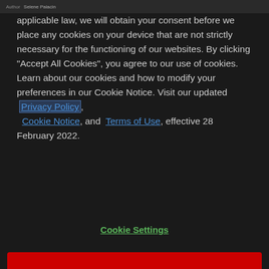Author  Selene Palacin
applicable law, we will obtain your consent before we place any cookies on your device that are not strictly necessary for the functioning of our websites. By clicking "Accept All Cookies", you agree to our use of cookies. Learn about our cookies and how to modify your preferences in our Cookie Notice. Visit our updated Privacy Policy, Cookie Notice, and Terms of Use, effective 28 February 2022.
Cookie Settings